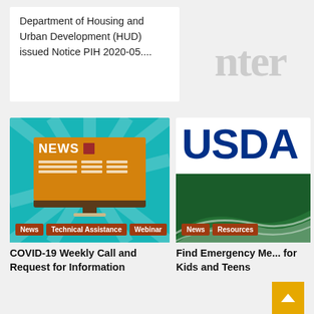Department of Housing and Urban Development (HUD) issued Notice PIH 2020-05....
[Figure (screenshot): Illustration of a computer monitor displaying 'NEWS' on an orange screen with two-column lines below, on a teal background with light rays]
News
Technical Assistance
Webinar
COVID-19 Weekly Call and Request for Information
[Figure (logo): USDA logo: large dark blue letters 'USDA' on white background above a green field with white swooping wave design]
News
Resources
Find Emergency Me... for Kids and Teens